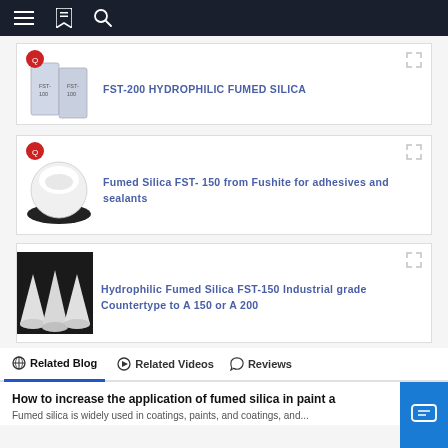Navigation bar with menu, bookmark, and search icons
[Figure (screenshot): Product card: FST-200 HYDROPHILIC FUMED SILICA with product bags image]
FST-200 HYDROPHILIC FUMED SILICA
[Figure (screenshot): Product card: Fumed Silica FST- 150 from Fushite for adhesives and sealants with white powder bowl image]
Fumed Silica FST- 150 from Fushite for adhesives and sealants
[Figure (screenshot): Product card: Hydrophilic Fumed Silica FST-150 Industrial grade Countertype to A 150 or A 200 with cone-shaped products image]
Hydrophilic Fumed Silica FST-150 Industrial grade Countertype to A 150 or A 200
Related Blog   Related Videos   Reviews
How to increase the application of fumed silica in paint a
Fumed silica is widely used in coatings, paints, and coatings, and...